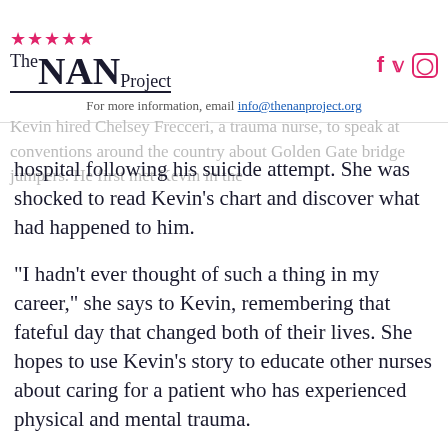The NAN Project — For more information, email info@thenanproject.org
hospital following his suicide attempt. She was shocked to read Kevin's chart and discover what had happened to him.
“I hadn’t ever thought of such a thing in my career,” she says to Kevin, remembering that fateful day that changed both of their lives. She hopes to use Kevin’s story to educate other nurses about caring for a patient who has experienced physical and mental trauma.
“They call that the Ripple Effect,” Kevin says, smiling down at Frecceri’s presentation notes.